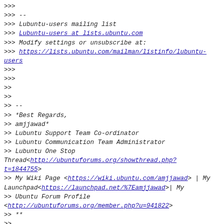>>>
>>> --
>>> Lubuntu-users mailing list
>>> Lubuntu-users at lists.ubuntu.com
>>> Modify settings or unsubscribe at:
>>> https://lists.ubuntu.com/mailman/listinfo/lubuntu-users
>>>
>>>
>>
>>
>> --
>> *Best Regards,
>> amjjawad*
>> Lubuntu Support Team Co-ordinator
>> Lubuntu Communication Team Administrator
>> Lubuntu One Stop Thread<http://ubuntuforums.org/showthread.php?t=1844755>
>> My Wiki Page <https://wiki.ubuntu.com/amjjawad> | My Launchpad<https://launchpad.net/%7Eamjjawad>| My
>> Ubuntu Forum Profile <http://ubuntuforums.org/member.php?u=941822>
>> **
>>
>>
>> --
>> Lubuntu-users mailing list
>> Lubuntu-users at lists.ubuntu.com
>> Modify settings or unsubscribe at: